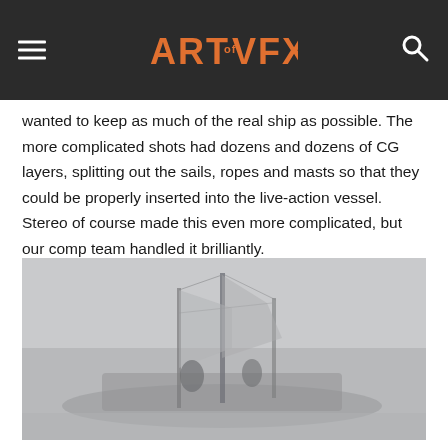ART of VFX
wanted to keep as much of the real ship as possible. The more complicated shots had dozens and dozens of CG layers, splitting out the sails, ropes and masts so that they could be properly inserted into the live-action vessel. Stereo of course made this even more complicated, but our comp team handled it brilliantly.
[Figure (photo): A muted, foggy image of a ship scene, appearing to show a sailing vessel with rigging visible in low-contrast gray tones.]